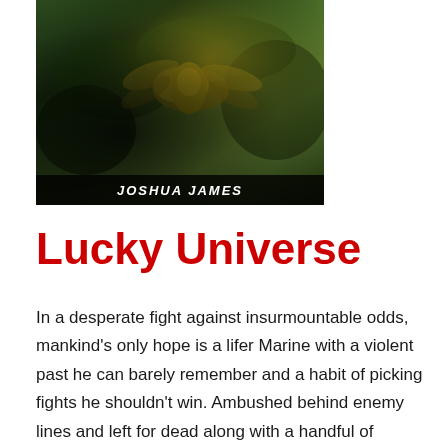[Figure (illustration): Book cover image showing dark forest/jungle imagery with insect-like figures, with author name 'JOSHUA JAMES' in white bold italic text on a dark bar at the bottom of the cover]
Lucky Universe
In a desperate fight against insurmountable odds, mankind's only hope is a lifer Marine with a violent past he can barely remember and a habit of picking fights he shouldn't win. Ambushed behind enemy lines and left for dead along with a handful of privates so green they actually respect his authority, Lance Cpl. Lucky Lee Savage has to master his inner demons, manage the ambitions of his foul-mouthed AI, and figure out what is tearing a hole in the fabric of space-time before everything goes tits up.